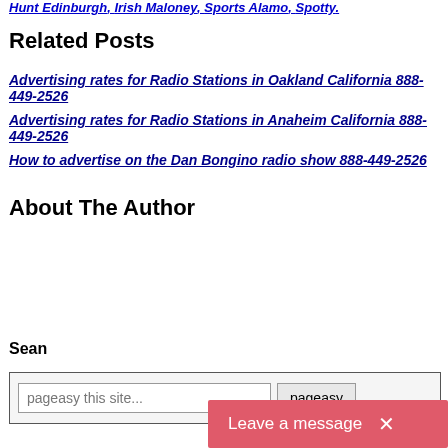Hunt Edinburgh, Irish Maloney, Sports Alamo, Spotty.
Related Posts
Advertising rates for Radio Stations in Oakland California 888-449-2526
Advertising rates for Radio Stations in Anaheim California 888-449-2526
How to advertise on the Dan Bongino radio show 888-449-2526
About The Author
Sean
pageasy this site... pageasy
Leave a message ×